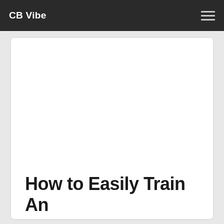CB Vibe
How to Easily Train An